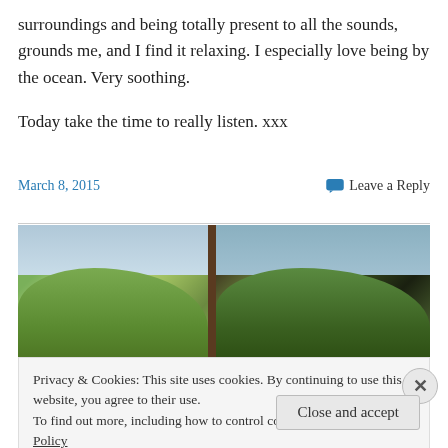surroundings and being totally present to all the sounds, grounds me, and I find it relaxing. I especially love being by the ocean. Very soothing.

Today take the time to really listen. xxx
March 8, 2015
Leave a Reply
[Figure (photo): View through a window showing green trees and sky outside, with dark window frames visible]
Privacy & Cookies: This site uses cookies. By continuing to use this website, you agree to their use.
To find out more, including how to control cookies, see here: Cookie Policy
Close and accept